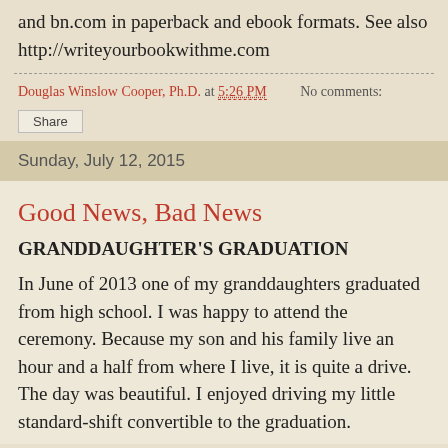and bn.com in paperback and ebook formats. See also http://writeyourbookwithme.com
Douglas Winslow Cooper, Ph.D. at 5:26 PM    No comments:
Share
Sunday, July 12, 2015
Good News, Bad News
GRANDDAUGHTER'S GRADUATION
In June of 2013 one of my granddaughters graduated from high school. I was happy to attend the ceremony. Because my son and his family live an hour and a half from where I live, it is quite a drive. The day was beautiful. I enjoyed driving my little standard-shift convertible to the graduation.